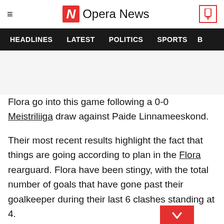Opera News
HEADLINES  LATEST  POLITICS  SPORTS  B
Flora go into this game following a 0-0 Meistriliiga draw against Paide Linnameeskond.
Their most recent results highlight the fact that things are going according to plan in the Flora rearguard. Flora have been stingy, with the total number of goals that have gone past their goalkeeper during their last 6 clashes standing at 4.